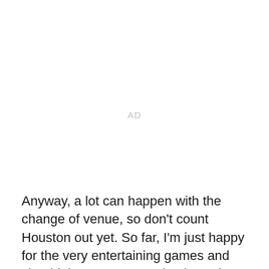AD
Anyway, a lot can happen with the change of venue, so don't count Houston out yet. So far, I'm just happy for the very entertaining games and should the Astros come back to win a couple would have to rate this Series pretty high as far as entertainment value is concerned. I am sickened by the behavior of one fan as hopefully most people are, really there's got to be some way we can weed this sort of element out of